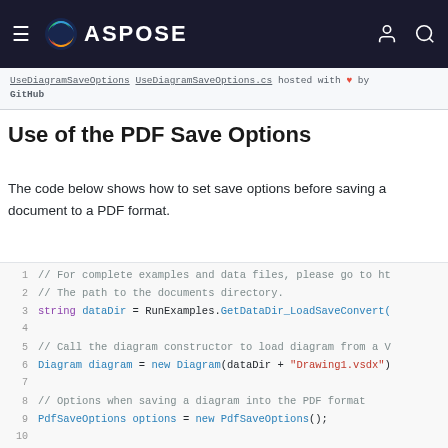ASPOSE
UseDiagramSaveOptions UseDiagramSaveOptions.cs hosted with ♥ by GitHub
Use of the PDF Save Options
The code below shows how to set save options before saving a document to a PDF format.
1  // For complete examples and data files, please go to ht
2  // The path to the documents directory.
3  string dataDir = RunExamples.GetDataDir_LoadSaveConvert(
4  
5  // Call the diagram constructor to load diagram from a V
6  Diagram diagram = new Diagram(dataDir + "Drawing1.vsdx")
7  
8  // Options when saving a diagram into the PDF format
9  PdfSaveOptions options = new PdfSaveOptions();
10